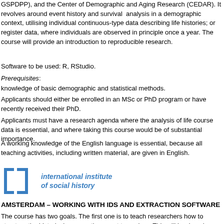GSPDPP), and the Center of Demographic and Aging Research (CEDAR). It revolves around event history and survival analysis in a demographic context, utilising individual continuous-type data describing life histories; or register data, where individuals are observed in principle once a year. The course will provide an introduction to reproducible research.
Software to be used: R, RStudio.
Prerequisites:
knowledge of basic demographic and statistical methods.
Applicants should either be enrolled in an MSc or PhD program or have recently received their PhD.
Applicants must have a research agenda where the analysis of life course data is essential, and where taking this course would be of substantial importance.
A working knowledge of the English language is essential, because all teaching activities, including written material, are given in English.
[Figure (logo): International Institute of Social History logo with bracket symbol in blue]
AMSTERDAM – WORKING WITH IDS AND EXTRACTION SOFTWARE
The course has two goals. The first one is to teach researchers how to structure the historical sources they want to explore. This will be done by introducing two methods of data structuring: Entity Relationship Design and Normalization. After a theoretical introduction students will do information analysis on their own historical sources. By